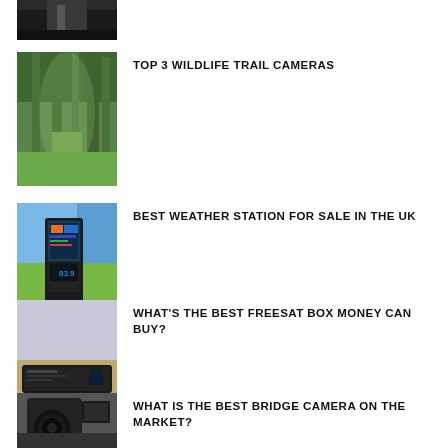[Figure (photo): Partial top image of a dark road or tunnel scene, cropped at top of page]
[Figure (photo): Forest path with tall green trees arching overhead, sunlight filtering through]
TOP 3 WILDLIFE TRAIL CAMERAS
[Figure (photo): Weather station device with colorful display showing temperature, placed on a white windowsill with green field outside]
BEST WEATHER STATION FOR SALE IN THE UK
[Figure (photo): Freesat box / set-top box device on a wooden surface, indoor setting]
WHAT'S THE BEST FREESAT BOX MONEY CAN BUY?
[Figure (photo): Close-up of a black bridge camera / DSLR camera, partially cropped at bottom of page]
WHAT IS THE BEST BRIDGE CAMERA ON THE MARKET?